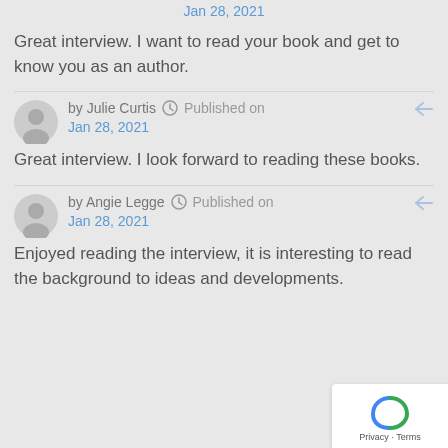Jan 28, 2021
Great interview. I want to read your book and get to know you as an author.
by Julie Curtis  Published on Jan 28, 2021
Great interview. I look forward to reading these books.
by Angie Legge  Published on Jan 28, 2021
Enjoyed reading the interview, it is interesting to read the background to ideas and developments.